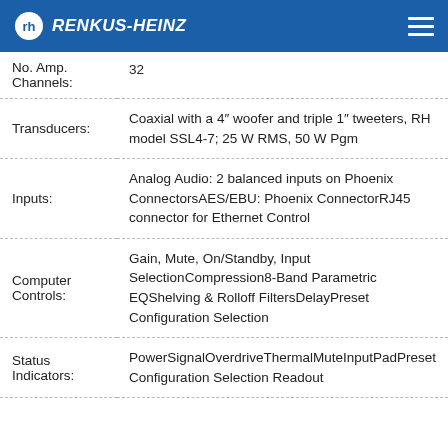RENKUS-HEINZ
| No. Amp. Channels: | 32 |
| Transducers: | Coaxial with a 4" woofer and triple 1" tweeters, RH model SSL4-7; 25 W RMS, 50 W Pgm |
| Inputs: | Analog Audio: 2 balanced inputs on Phoenix ConnectorsAES/EBU: Phoenix ConnectorRJ45 connector for Ethernet Control |
| Computer Controls: | Gain, Mute, On/Standby, Input SelectionCompression8-Band Parametric EQShelving & Rolloff FiltersDelayPreset Configuration Selection |
| Status Indicators: | PowerSignalOverdriveThermalMuteInputPadPreset Configuration Selection Readout |